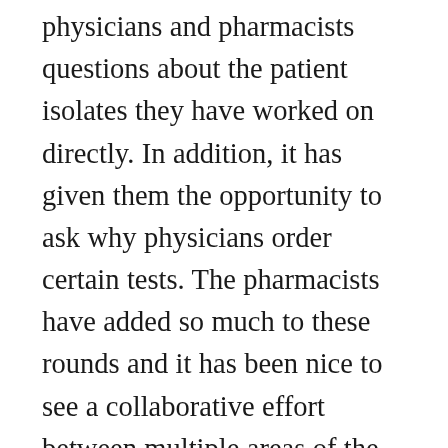physicians and pharmacists questions about the patient isolates they have worked on directly. In addition, it has given them the opportunity to ask why physicians order certain tests. The pharmacists have added so much to these rounds and it has been nice to see a collaborative effort between multiple areas of the patient care team come together and talk about why things are done and the outcome of the patient based on laboratory results.  It demonstrates to everyone that each member of team is passionate about patient care.  In order to bring some of this knowledge to the second shift staff that performs microbiology processing, I save one or two interesting cases from rounds and present a